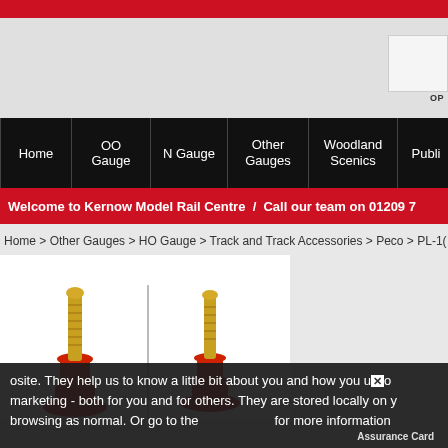Red top bar
[Figure (screenshot): Website header area with logo placeholder and OP label top right]
Navigation bar: Home | OO Gauge | N Gauge | Other Gauges | Woodland Scenics | Publi...
Welcome to Kernow Model Rail Centre / Call our team on 01209 7
Home > Other Gauges > HO Gauge > Track and Track Accessories > Peco > PL-1(
[Figure (photo): Product photo showing two red and gold screw-type track accessories (Peco PL-10) against white background]
osite. They help us to know a little bit about you and how you use o... marketing - both for you and for others. They are stored locally on y... browsing as normal. Or go to the ... for more information
Assurance Card